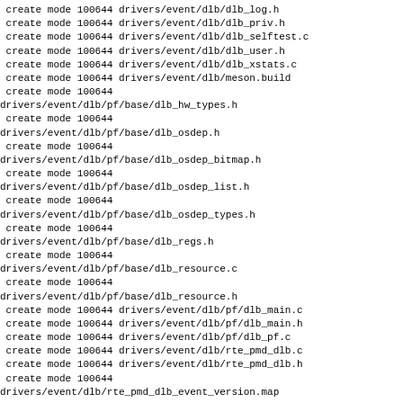create mode 100644 drivers/event/dlb/dlb_log.h
 create mode 100644 drivers/event/dlb/dlb_priv.h
 create mode 100644 drivers/event/dlb/dlb_selftest.c
 create mode 100644 drivers/event/dlb/dlb_user.h
 create mode 100644 drivers/event/dlb/dlb_xstats.c
 create mode 100644 drivers/event/dlb/meson.build
 create mode 100644
drivers/event/dlb/pf/base/dlb_hw_types.h
 create mode 100644
drivers/event/dlb/pf/base/dlb_osdep.h
 create mode 100644
drivers/event/dlb/pf/base/dlb_osdep_bitmap.h
 create mode 100644
drivers/event/dlb/pf/base/dlb_osdep_list.h
 create mode 100644
drivers/event/dlb/pf/base/dlb_osdep_types.h
 create mode 100644
drivers/event/dlb/pf/base/dlb_regs.h
 create mode 100644
drivers/event/dlb/pf/base/dlb_resource.c
 create mode 100644
drivers/event/dlb/pf/base/dlb_resource.h
 create mode 100644 drivers/event/dlb/pf/dlb_main.c
 create mode 100644 drivers/event/dlb/pf/dlb_main.h
 create mode 100644 drivers/event/dlb/pf/dlb_pf.c
 create mode 100644 drivers/event/dlb/rte_pmd_dlb.c
 create mode 100644 drivers/event/dlb/rte_pmd_dlb.h
 create mode 100644
drivers/event/dlb/rte_pmd_dlb_event_version.map